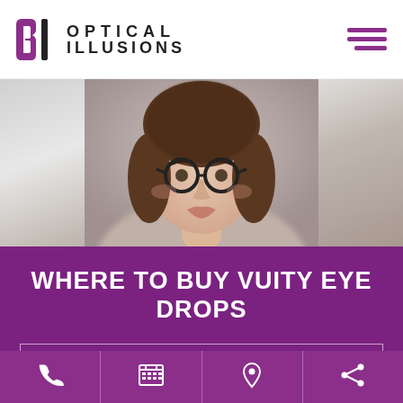[Figure (logo): Optical Illusions logo with purple and black stylized letter marks and company name in bold uppercase letters]
[Figure (photo): Young woman with round black-framed glasses looking upward, blurred background, close-up headshot]
WHERE TO BUY VUITY EYE DROPS
BOOK APPOINTMENT IN CALIFORNIA
BOOK APPOINTMENT IN JUNEAU